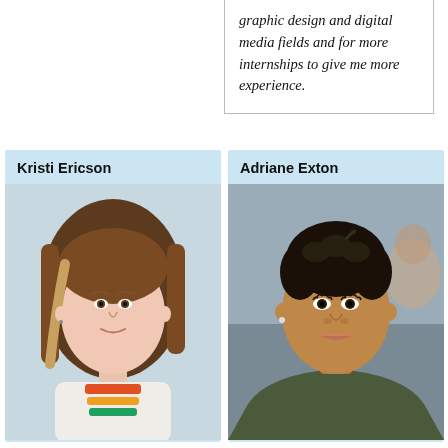graphic design and digital media fields and for more internships to give me more experience.
[Figure (photo): Portrait photo of Kristi Ericson, a young woman with long straight brown hair, wearing a white top with colorful pattern]
Kristi Ericson
[Figure (photo): Portrait photo of Adriane Exton, a young woman with short natural hair, wearing a dark jacket, selfie-style photo]
Adriane Exton